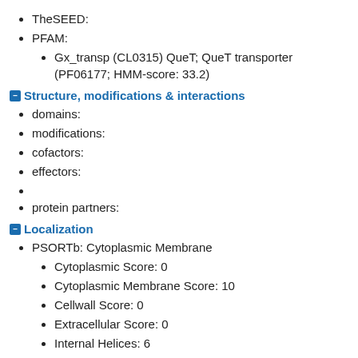TheSEED:
PFAM:
Gx_transp (CL0315) QueT; QueT transporter (PF06177; HMM-score: 33.2)
Structure, modifications & interactions
domains:
modifications:
cofactors:
effectors:
protein partners:
Localization
PSORTb: Cytoplasmic Membrane
Cytoplasmic Score: 0
Cytoplasmic Membrane Score: 10
Cellwall Score: 0
Extracellular Score: 0
Internal Helices: 6
LocateP:
SignalP: no predicted signal peptide
SP(Sec/SPI): 0.008662
TAT(Tat/SPI): 0.000651